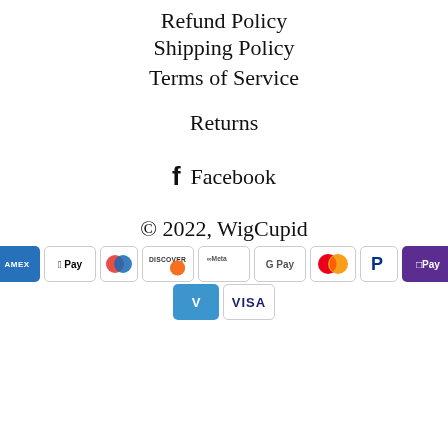Refund Policy
Shipping Policy
Terms of Service
Returns
f  Facebook
© 2022, WigCupid
[Figure (other): Payment method icons: American Express, Apple Pay, Diners Club, Discover, Meta Pay, Google Pay, Mastercard, PayPal, OPay, Venmo, Visa]